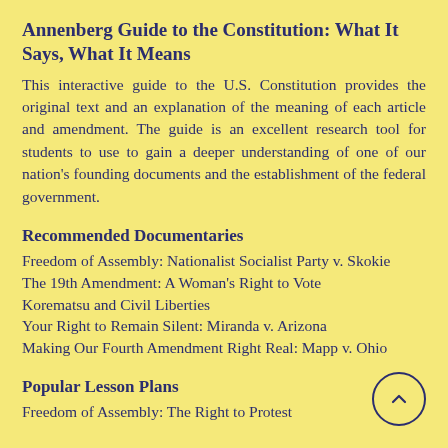Annenberg Guide to the Constitution: What It Says, What It Means
This interactive guide to the U.S. Constitution provides the original text and an explanation of the meaning of each article and amendment. The guide is an excellent research tool for students to use to gain a deeper understanding of one of our nation's founding documents and the establishment of the federal government.
Recommended Documentaries
Freedom of Assembly: Nationalist Socialist Party v. Skokie
The 19th Amendment: A Woman's Right to Vote
Korematsu and Civil Liberties
Your Right to Remain Silent: Miranda v. Arizona
Making Our Fourth Amendment Right Real: Mapp v. Ohio
Popular Lesson Plans
Freedom of Assembly: The Right to Protest